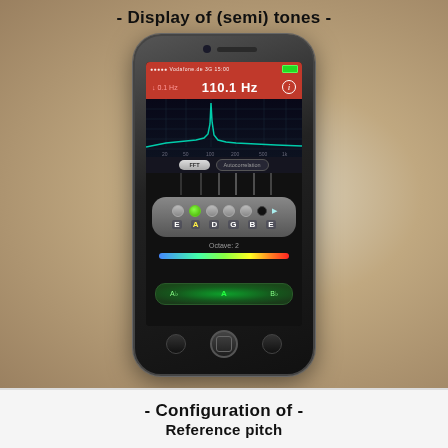- Display of (semi) tones -
[Figure (screenshot): iPhone screen showing a guitar tuner app with FFT spectrum display, note selector showing E A D G B E strings with A selected, frequency reading of 110.1 Hz, Octave: 2 indicator, and tuner needle display]
- Configuration of -